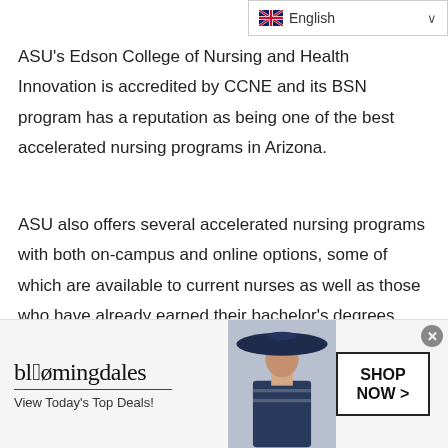English
ASU’s Edson College of Nursing and Health Innovation is accredited by CCNE and its BSN program has a reputation as being one of the best accelerated nursing programs in Arizona.
ASU also offers several accelerated nursing programs with both on-campus and online options, some of which are available to current nurses as well as those who have already earned their bachelor’s degrees.
Chamberlain College of Nursing
[Figure (infographic): Bloomingdale’s advertisement banner showing logo, tagline ‘View Today’s Top Deals!’, a woman in a wide-brimmed hat, and a SHOP NOW > button]